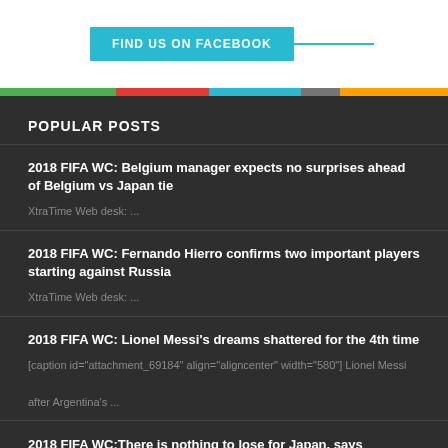[Figure (other): FIND US ON FACEBOOK cyan button with a cyan horizontal line extending to the right]
[Figure (other): Horizontal color bar with segments: green, red, cyan/light blue, gray, orange/yellow]
POPULAR POSTS
2018 FIFA WC: Belgium manager expects no surprises ahead of Belgium vs Japan tie
XtraTime Web desk: ...
2018 FIFA WC: Fernando Hierro confirms two important players starting against Russia
XtraTime Web desk: ...
2018 FIFA WC: Lionel Messi's dreams shattered for the 4th time
[caption id="attachment_69184" align="aligncenter" width="580"] Lionel Messi after Argentina's ...
2018 FIFA WC:There is nothing to lose for Japan, says Nagatomo